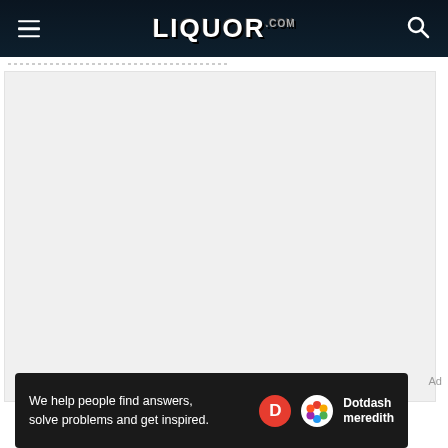LIQUOR.COM
[Figure (other): Large light gray rectangular placeholder area representing an advertisement or image content area on the Liquor.com website]
Ad
[Figure (other): Dotdash Meredith promotional banner: 'We help people find answers, solve problems and get inspired.' with Dotdash Meredith logo on dark background]